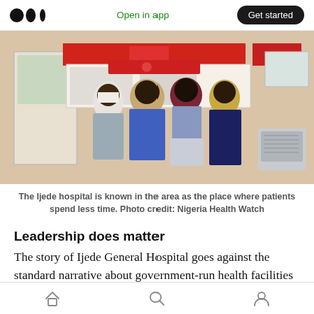Open in app  Get started
[Figure (photo): Four people leaning against a hospital service window with red signage. An air conditioning unit is visible on the right wall. The building exterior is beige/cream colored.]
The Ijede hospital is known in the area as the place where patients spend less time. Photo credit: Nigeria Health Watch
Leadership does matter
The story of Ijede General Hospital goes against the standard narrative about government-run health facilities in Nigeria. A critical component
Home  Search  Profile